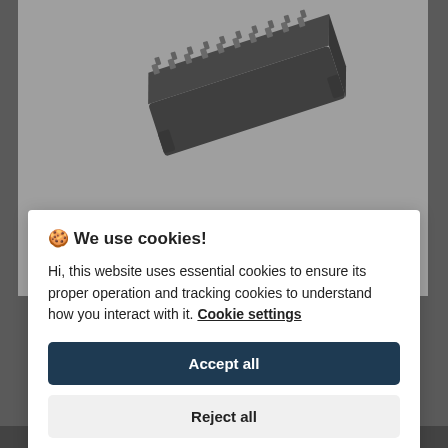[Figure (photo): Shrouded Box Header 2x20 (40) pin connector, dark grey/black, shown at an angle on a white background]
Shrouded Box Header 2x20 (40) pin
Shrouded Box Header 2x20 (40) pin These box headers are a dual row shrouded header for use wi..
🍪 We use cookies!
Hi, this website uses essential cookies to ensure its proper operation and tracking cookies to understand how you interact with it. Cookie settings